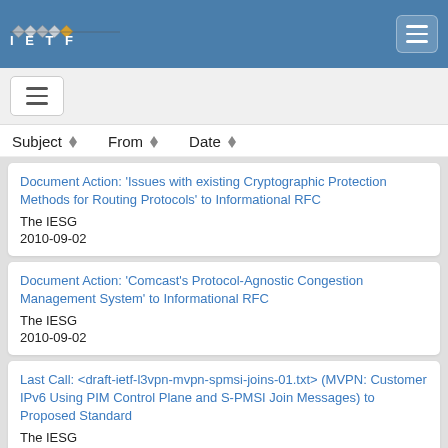IETF
Subject | From | Date
Document Action: 'Issues with existing Cryptographic Protection Methods for Routing Protocols' to Informational RFC | The IESG | 2010-09-02
Document Action: 'Comcast’s Protocol-Agnostic Congestion Management System' to Informational RFC | The IESG | 2010-09-02
Last Call: <draft-ietf-l3vpn-mvpn-spmsi-joins-01.txt> (MVPN: Customer IPv6 Using PIM Control Plane and S-PMSI Join Messages) to Proposed Standard | The IESG